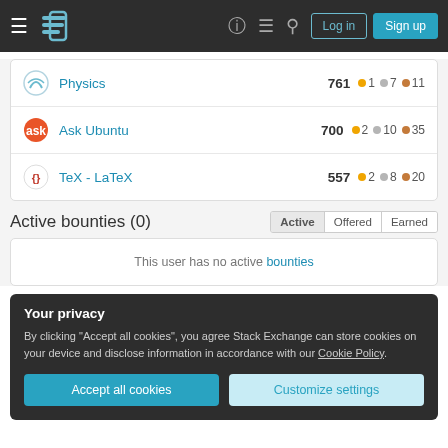Stack Exchange navigation bar with Log in and Sign up buttons
Physics  761  1  7  11
Ask Ubuntu  700  2  10  35
TeX - LaTeX  557  2  8  20
Active bounties (0)
This user has no active bounties
Your privacy
By clicking "Accept all cookies", you agree Stack Exchange can store cookies on your device and disclose information in accordance with our Cookie Policy.
Accept all cookies  Customize settings